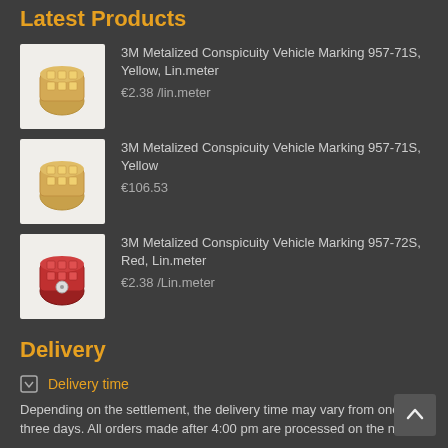Latest Products
3M Metalized Conspicuity Vehicle Marking 957-71S, Yellow, Lin.meter
€2.38 /lin.meter
3M Metalized Conspicuity Vehicle Marking 957-71S, Yellow
€106.53
3M Metalized Conspicuity Vehicle Marking 957-72S, Red, Lin.meter
€2.38 /Lin.meter
Delivery
Delivery time
Depending on the settlement, the delivery time may vary from one to three days. All orders made after 4:00 pm are processed on the next